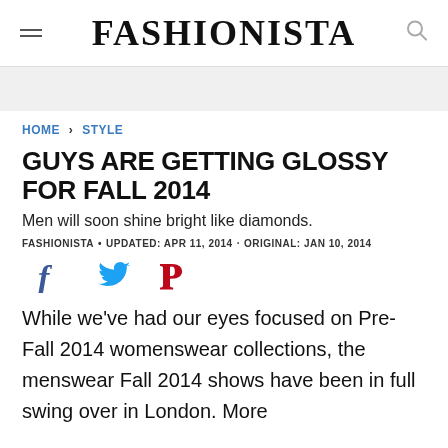FASHIONISTA
HOME > STYLE
GUYS ARE GETTING GLOSSY FOR FALL 2014
Men will soon shine bright like diamonds.
FASHIONISTA • UPDATED: APR 11, 2014 · ORIGINAL: JAN 10, 2014
[Figure (infographic): Social share icons: Facebook (blue f), Twitter (blue bird), Pinterest (red P)]
While we've had our eyes focused on Pre-Fall 2014 womenswear collections, the menswear Fall 2014 shows have been in full swing over in London. More